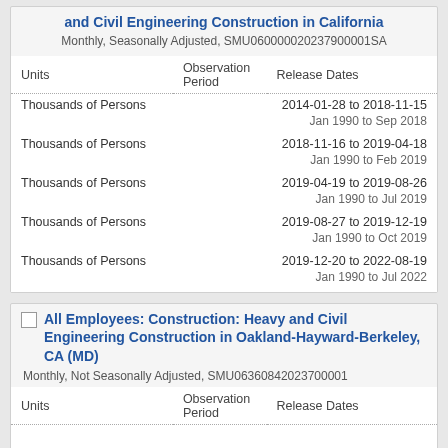and Civil Engineering Construction in California
Monthly, Seasonally Adjusted, SMU060000020237900001SA
| Units | Observation Period | Release Dates |
| --- | --- | --- |
| Thousands of Persons |  | 2014-01-28 to 2018-11-15 |
|  |  | Jan 1990 to Sep 2018 |
| Thousands of Persons |  | 2018-11-16 to 2019-04-18 |
|  |  | Jan 1990 to Feb 2019 |
| Thousands of Persons |  | 2019-04-19 to 2019-08-26 |
|  |  | Jan 1990 to Jul 2019 |
| Thousands of Persons |  | 2019-08-27 to 2019-12-19 |
|  |  | Jan 1990 to Oct 2019 |
| Thousands of Persons |  | 2019-12-20 to 2022-08-19 |
|  |  | Jan 1990 to Jul 2022 |
All Employees: Construction: Heavy and Civil Engineering Construction in Oakland-Hayward-Berkeley, CA (MD)
Monthly, Not Seasonally Adjusted, SMU06360842023700001
| Units | Observation Period | Release Dates |
| --- | --- | --- |